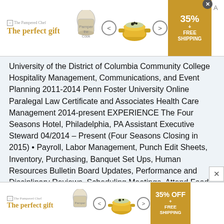[Figure (other): Advertisement banner for The Pampered Chef: 'The perfect gift' with images of a pot and food, navigation arrows, and a 35% + FREE SHIPPING offer badge with close button]
University of the District of Columbia Community College Hospitality Management, Communications, and Event Planning 2011-2014 Penn Foster University Online Paralegal Law Certificate and Associates Health Care Management 2014-present EXPERIENCE The Four Seasons Hotel, Philadelphia, PA Assistant Executive Steward 04/2014 – Present (Four Seasons Closing in 2015) • Payroll, Labor Management, Punch Edit Sheets, Inventory, Purchasing, Banquet Set Ups, Human Resources Bulletin Board Updates, Performance and Disciplinary Reviews, Scheduling Meetings, Attend Food and Beverage, Menu, Spec, Board of Ops, and Labor Meetings weekly, Storage Organization, Calendar Updates, Attendance Tracking, Set Sheets,
[Figure (other): Advertisement banner for The Pampered Chef: 'The perfect gift' with images of a pot and food, navigation arrows, and a 35% OFF + FREE SHIPPING offer badge]